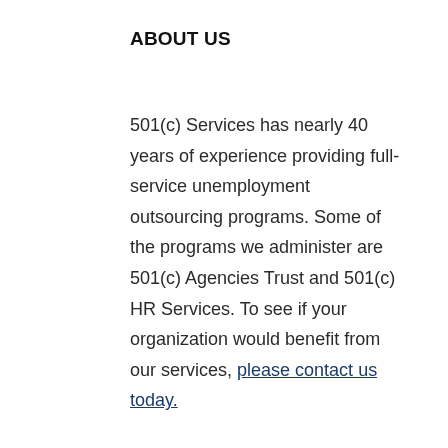ABOUT US
501(c) Services has nearly 40 years of experience providing full-service unemployment outsourcing programs. Some of the programs we administer are 501(c) Agencies Trust and 501(c) HR Services. To see if your organization would benefit from our services, please contact us today.